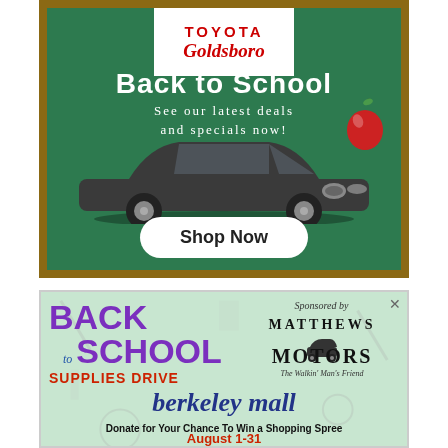[Figure (illustration): Toyota of Goldsboro Back to School advertisement on green chalkboard background. Shows Toyota logo above, 'Back to School' text, 'See our latest deals and specials now!', a dark gray Toyota Camry sedan, red apple graphic, and a 'Shop Now' button.]
[Figure (illustration): Back to School Supplies Drive advertisement with light green school supplies background. Purple and blue 'BACK to SCHOOL' text, red 'SUPPLIES DRIVE', Matthews Motors logo (The Walkin' Man's Friend), 'Sponsored by' text, blue italic 'berkeley mall', 'Donate for Your Chance To Win a Shopping Spree', and 'August 1-31' in red.]